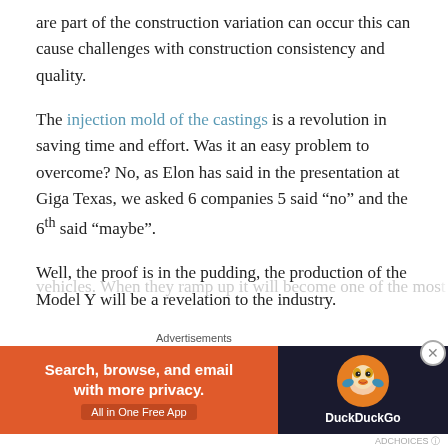are part of the construction variation can occur this can cause challenges with construction consistency and quality.
The injection mold of the castings is a revolution in saving time and effort. Was it an easy problem to overcome? No, as Elon has said in the presentation at Giga Texas, we asked 6 companies 5 said “no” and the 6th said “maybe”.
Well, the proof is in the pudding, the production of the Model Y will be a revelation to the industry.
With the opening of The Giga Berlin and The Giga Texas both have several giga presses that can produce these vehicles. When they ramp up it will become one of the most...
[Figure (other): DuckDuckGo advertisement banner: 'Search, browse, and email with more privacy. All in One Free App' with DuckDuckGo logo on dark background]